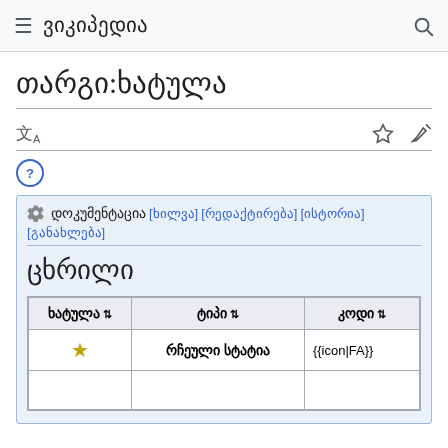≡ ვიკიპედია 🔍
თარგი:ხატულა
文A ☆ ✏
ⓘ
დოკუმენტაცია [ხილვა] [რედაქტირება] [ისტორია] [განახლება]
ცხრილი
| ხატულა ⬦ | ტიპი ⬦ | კოდი ⬦ |
| --- | --- | --- |
| ★ | რჩეული სტატია | {{icon|FA}} |
|  |  |  |